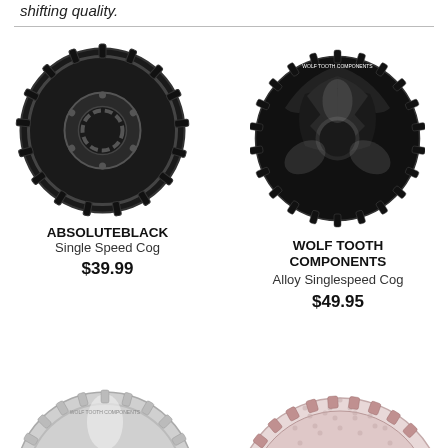shifting quality.
[Figure (photo): Black AbsoluteBlack Single Speed Cog bicycle sprocket]
ABSOLUTEBLACK
Single Speed Cog
$39.99
[Figure (photo): Black Wolf Tooth Components Alloy Singlespeed Cog bicycle sprocket]
WOLF TOOTH COMPONENTS
Alloy Singlespeed Cog
$49.95
[Figure (photo): Silver Wolf Tooth Components singlespeed cog (partial, bottom of page)]
[Figure (photo): Pink/silver multi-speed cassette cog (partial, bottom of page)]